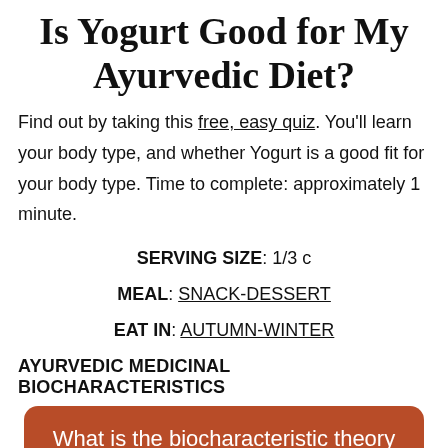Is Yogurt Good for My Ayurvedic Diet?
Find out by taking this free, easy quiz. You'll learn your body type, and whether Yogurt is a good fit for your body type. Time to complete: approximately 1 minute.
SERVING SIZE: 1/3 c
MEAL: SNACK-DESSERT
EAT IN: AUTUMN-WINTER
AYURVEDIC MEDICINAL BIOCHARACTERISTICS
What is the biocharacteristic theory of medicine?